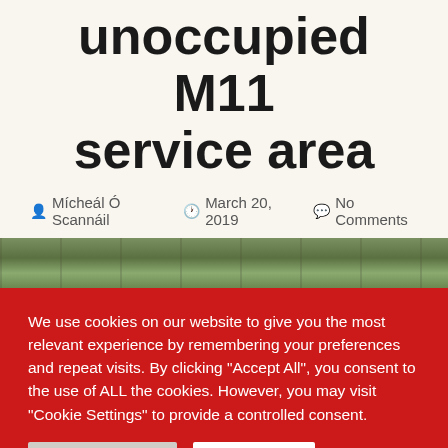expenditure for unoccupied M11 service area
Mícheál Ó Scannáil   March 20, 2019   No Comments
[Figure (photo): Photograph of a building, likely the M11 service area, shown as a horizontal strip]
We use cookies on our website to give you the most relevant experience by remembering your preferences and repeat visits. By clicking "Accept All", you consent to the use of ALL the cookies. However, you may visit "Cookie Settings" to provide a controlled consent.
Cookie Settings   Accept All